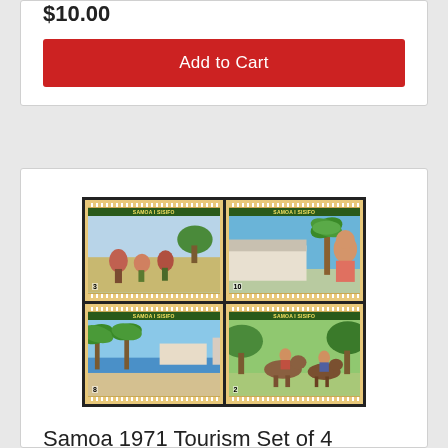$10.00
Add to Cart
[Figure (photo): Four Samoa I Sisifo 1971 Tourism stamps arranged in a 2x2 grid on a dark background. Top-left stamp shows people working in a field (value 3). Top-right stamp shows a woman near palm trees and buildings (value 10). Bottom-left stamp shows a beach/coastal scene (value 8). Bottom-right stamp shows people with horses (value 2). Each stamp has a decorative patterned border.]
Samoa 1971 Tourism Set of 4 Stamps SG365/68 MUH
$5.50
Add to Cart